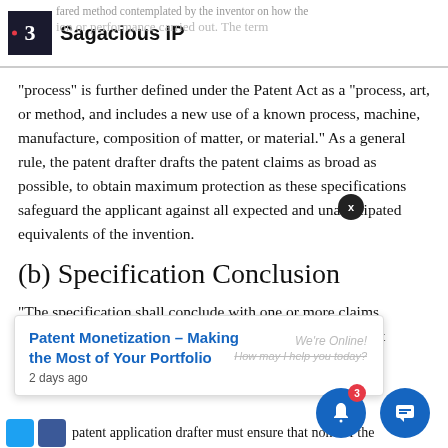Sagacious IP
“process” is further defined under the Patent Act as a “process, art, or method, and includes a new use of a known process, machine, manufacture, composition of matter, or material.” As a general rule, the patent drafter drafts the patent claims as broad as possible, to obtain maximum protection as these specifications safeguard the applicant against all expected and unanticipated equivalents of the invention.
(b) Specification Conclusion
“The specification shall conclude with one or more claims particularly pointing out and distinctly claiming the subject
regards as the
patent application drafter must ensure that none of the